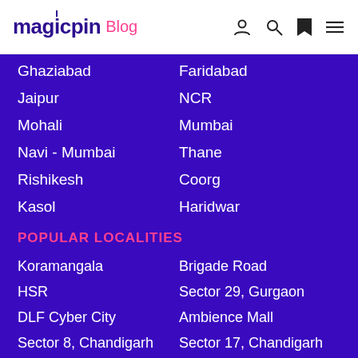magicpin Blog
Ghaziabad
Faridabad
Jaipur
NCR
Mohali
Mumbai
Navi - Mumbai
Thane
Rishikesh
Coorg
Kasol
Haridwar
POPULAR LOCALITIES
Koramangala
Brigade Road
HSR
Sector 29, Gurgaon
DLF Cyber City
Ambience Mall
Sector 8, Chandigarh
Sector 17, Chandigarh
Made you hungry? Explore food outlets around you